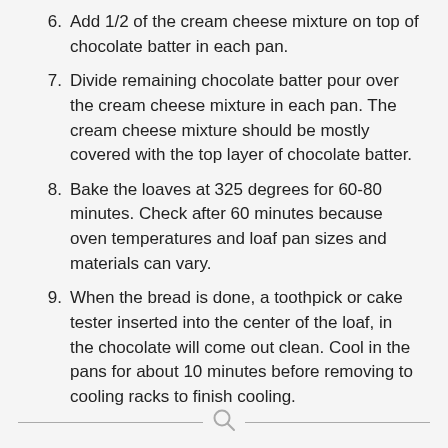6. Add 1/2 of the cream cheese mixture on top of chocolate batter in each pan.
7. Divide remaining chocolate batter pour over the cream cheese mixture in each pan. The cream cheese mixture should be mostly covered with the top layer of chocolate batter.
8. Bake the loaves at 325 degrees for 60-80 minutes. Check after 60 minutes because oven temperatures and loaf pan sizes and materials can vary.
9. When the bread is done, a toothpick or cake tester inserted into the center of the loaf, in the chocolate will come out clean. Cool in the pans for about 10 minutes before removing to cooling racks to finish cooling.